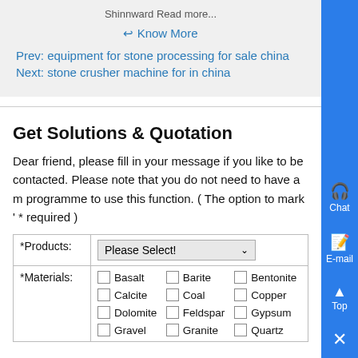Shinnward Read more...
↩ Know More
Prev: equipment for stone processing for sale china
Next: stone crusher machine for in china
Get Solutions & Quotation
Dear friend, please fill in your message if you like to be contacted. Please note that you do not need to have a mail programme to use this function. ( The option to mark ' * required )
| *Products: | Please Select! |
| --- | --- |
| *Materials: | Basalt, Barite, Bentonite, Calcite, Coal, Copper, Dolomite, Feldspar, Gypsum, Gravel, Granite, Quartz |